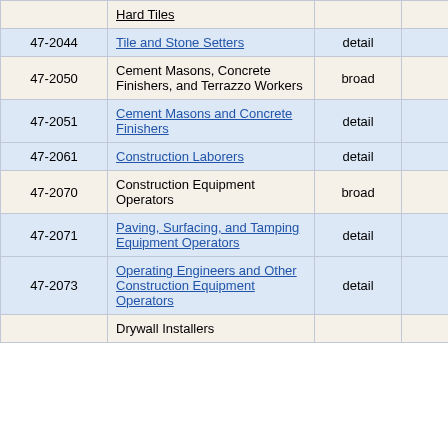| Code | Occupation | Level | Employment | ... |
| --- | --- | --- | --- | --- |
|  | Hard Tiles |  |  |  |
| 47-2044 | Tile and Stone Setters | detail | 50 |  |
| 47-2050 | Cement Masons, Concrete Finishers, and Terrazzo Workers | broad | 1,270 |  |
| 47-2051 | Cement Masons and Concrete Finishers | detail | 1,270 |  |
| 47-2061 | Construction Laborers | detail | 29,100 |  |
| 47-2070 | Construction Equipment Operators | broad | 64,400 |  |
| 47-2071 | Paving, Surfacing, and Tamping Equipment Operators | detail | 4,900 |  |
| 47-2073 | Operating Engineers and Other Construction Equipment Operators | detail | 59,410 |  |
|  | Drywall Installers |  |  |  |